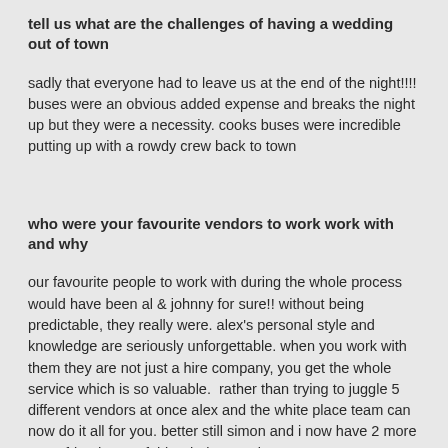tell us what are the challenges of having a wedding out of town
sadly that everyone had to leave us at the end of the night!!!! buses were an obvious added expense and breaks the night up but they were a necessity. cooks buses were incredible putting up with a rowdy crew back to town
who were your favourite vendors to work work with and why
our favourite people to work with during the whole process would have been al & johnny for sure!! without being predictable, they really were. alex's personal style and knowledge are seriously unforgettable. when you work with them they are not just a hire company, you get the whole service which is so valuable.  rather than trying to juggle 5 different vendors at once alex and the white place team can now do it all for you. better still simon and i now have 2 more great friends out of this whole experience!!!